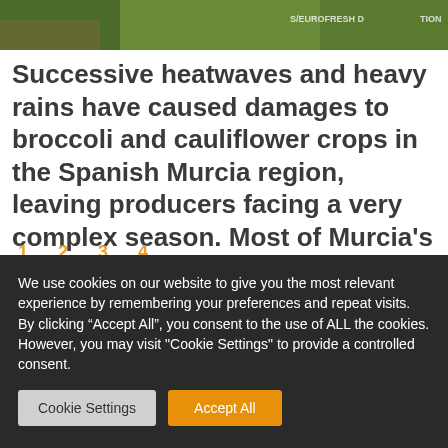[Figure (photo): Partial view of broccoli crops with watermark text 'S/EUROFRESH D...TION' visible in top right corner]
Successive heatwaves and heavy rains have caused damages to broccoli and cauliflower crops in the Spanish Murcia region, leaving producers facing a very complex season. Most of Murcia’s productions is [...]
WED 17/08/2022 BY RICHARD WILKINSON
We use cookies on our website to give you the most relevant experience by remembering your preferences and repeat visits. By clicking “Accept All”, you consent to the use of ALL the cookies. However, you may visit "Cookie Settings" to provide a controlled consent.